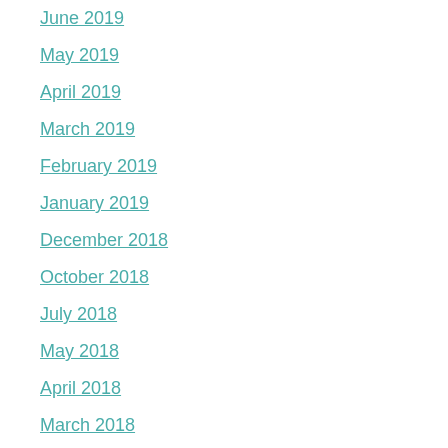June 2019
May 2019
April 2019
March 2019
February 2019
January 2019
December 2018
October 2018
July 2018
May 2018
April 2018
March 2018
October 2017
September 2017
July 2017